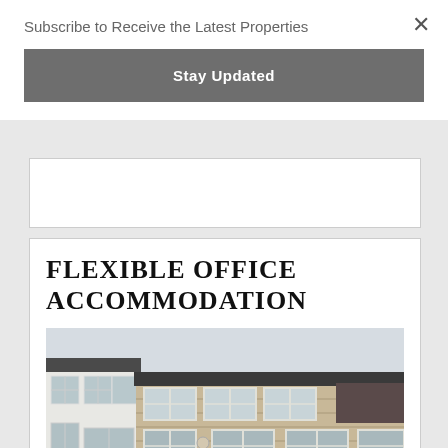Subscribe to Receive the Latest Properties
Stay Updated
FLEXIBLE OFFICE ACCOMMODATION
[Figure (photo): Exterior photograph of a modern two-storey office building with light brick cladding, white render panels, white-framed windows, and manicured shrubs at the entrance.]